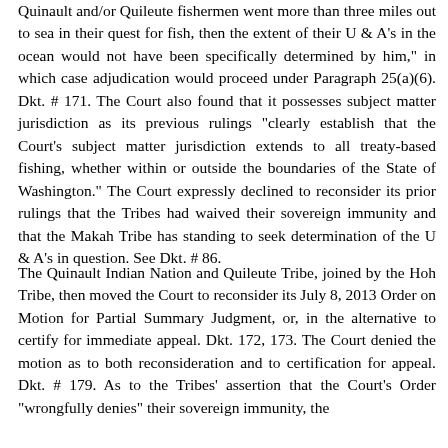Quinault and/or Quileute fishermen went more than three miles out to sea in their quest for fish, then the extent of their U & A's in the ocean would not have been specifically determined by him," in which case adjudication would proceed under Paragraph 25(a)(6). Dkt. # 171. The Court also found that it possesses subject matter jurisdiction as its previous rulings "clearly establish that the Court's subject matter jurisdiction extends to all treaty-based fishing, whether within or outside the boundaries of the State of Washington." The Court expressly declined to reconsider its prior rulings that the Tribes had waived their sovereign immunity and that the Makah Tribe has standing to seek determination of the U & A's in question. See Dkt. # 86.
The Quinault Indian Nation and Quileute Tribe, joined by the Hoh Tribe, then moved the Court to reconsider its July 8, 2013 Order on Motion for Partial Summary Judgment, or, in the alternative to certify for immediate appeal. Dkt. 172, 173. The Court denied the motion as to both reconsideration and to certification for appeal. Dkt. # 179. As to the Tribes' assertion that the Court's Order "wrongfully denies" their sovereign immunity, the